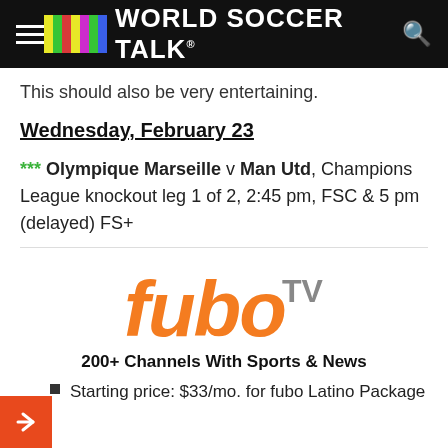World Soccer Talk
This should also be very entertaining.
Wednesday, February 23
*** Olympique Marseille v Man Utd, Champions League knockout leg 1 of 2, 2:45 pm, FSC & 5 pm (delayed) FS+
[Figure (logo): fuboTV logo in orange with TV superscript in gray]
200+ Channels With Sports & News
Starting price: $33/mo. for fubo Latino Package